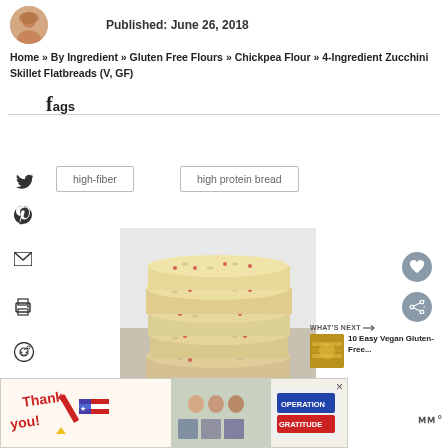Published: June 26, 2018
Home » By Ingredient » Gluten Free Flours » Chickpea Flour » 4-Ingredient Zucchini Skillet Flatbreads (V, GF)
fags
high-fiber
high protein bread
[Figure (photo): Stack of flatbreads with seeds and red pieces, photographed on white background]
WHAT'S NEXT → 10 Easy Vegan Gluten-Free...
[Figure (photo): Operation Gratitude thank you advertisement banner]